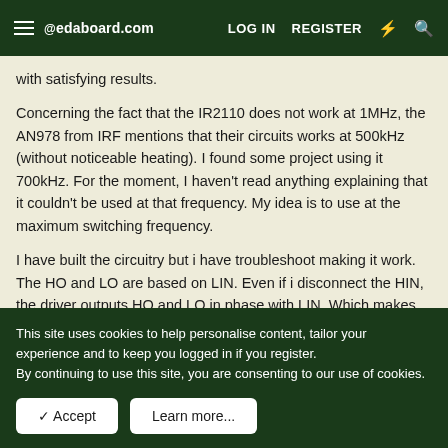edaboard.com | LOG IN | REGISTER
with satisfying results.
Concerning the fact that the IR2110 does not work at 1MHz, the AN978 from IRF mentions that their circuits works at 500kHz (without noticeable heating). I found some project using it 700kHz. For the moment, I haven't read anything explaining that it couldn't be used at that frequency. My idea is to use at the maximum switching frequency.
I have built the circuitry but i have troubleshoot making it work. The HO and LO are based on LIN. Even if i disconnect the HIN, the driver outputs HO and LO in phase with LIN. Which makes me think that there is something somewhere ?!
This site uses cookies to help personalise content, tailor your experience and to keep you logged in if you register.
By continuing to use this site, you are consenting to our use of cookies.